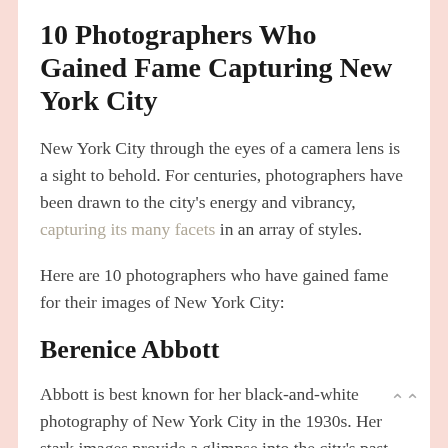10 Photographers Who Gained Fame Capturing New York City
New York City through the eyes of a camera lens is a sight to behold. For centuries, photographers have been drawn to the city's energy and vibrancy, capturing its many facets in an array of styles.
Here are 10 photographers who have gained fame for their images of New York City:
Berenice Abbott
Abbott is best known for her black-and-white photography of New York City in the 1930s. Her stark images provide a glimpse into the city's past, offering a unique perspective on its architecture and streetscapes.